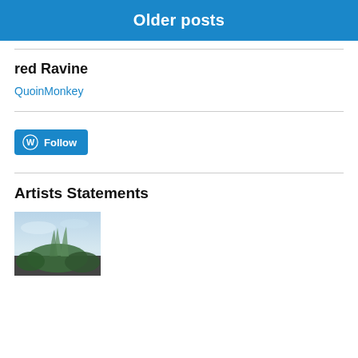Older posts
red Ravine
QuoinMonkey
[Figure (screenshot): WordPress Follow button with WordPress logo icon]
Artists Statements
[Figure (photo): Partial image of a nature scene with plants/grasses against a sky background]